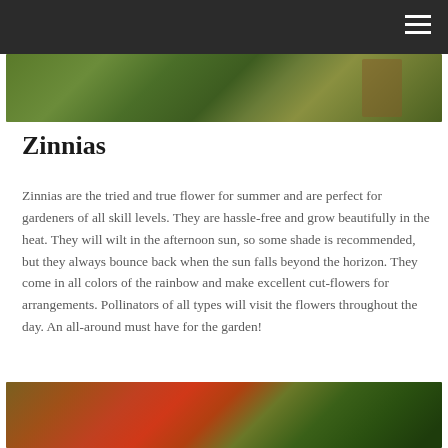[Figure (photo): Garden photo at top of page showing plants and foliage with dark header bar overlay]
Zinnias
Zinnias are the tried and true flower for summer and are perfect for gardeners of all skill levels.  They are hassle-free and grow beautifully in the heat.  They will wilt in the afternoon sun, so some shade is recommended, but they always bounce back when the sun falls beyond the horizon.  They come in all colors of the rainbow and make excellent cut-flowers for arrangements.  Pollinators of all types will visit the flowers throughout the day.  An all-around must have for the garden!
[Figure (photo): Garden photo at bottom of page showing orange zinnia flowers and green foliage]